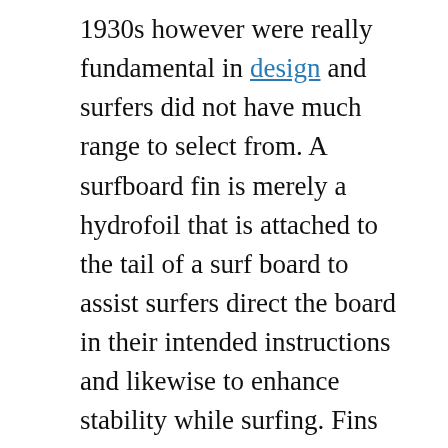1930s however were really fundamental in design and surfers did not have much range to select from. A surfboard fin is merely a hydrofoil that is attached to the tail of a surf board to assist surfers direct the board in their intended instructions and likewise to enhance stability while surfing. Fins are available in various sizes and shapes and might be connected singly or in multiples to the tail of a board. The most typical types of fins uses today are the detachable fin systems, which can be unscrewed from the tail of a surf board and reorganized in a different configuration or changed with other types of fins in order to enhance maneuverability. Today's detachable fin systems are high tech, easy to use and